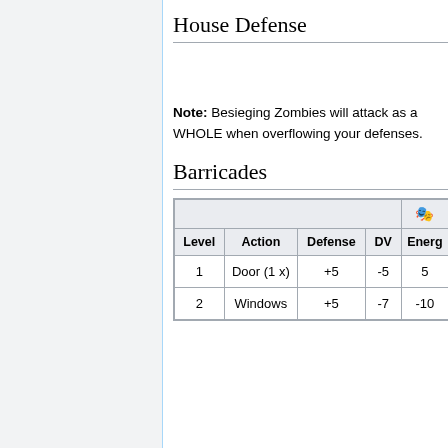House Defense
Note: Besieging Zombies will attack as a WHOLE when overflowing your defenses.
Barricades
| Level | Action | Defense | DV | Energy |
| --- | --- | --- | --- | --- |
| 1 | Door (1 x) | +5 | -5 | 5 |
| 2 | Windows | +5 | -7 | -10 |